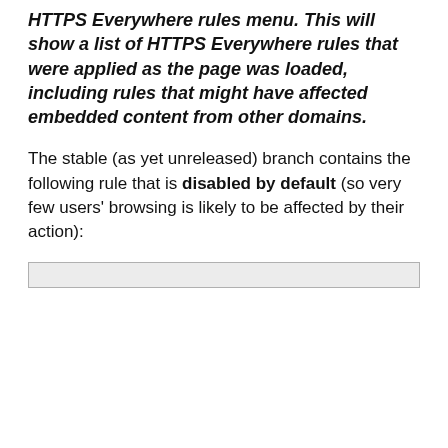HTTPS Everywhere rules menu. This will show a list of HTTPS Everywhere rules that were applied as the page was loaded, including rules that might have affected embedded content from other domains.
The stable (as yet unreleased) branch contains the following rule that is disabled by default (so very few users' browsing is likely to be affected by their action):
[Figure (screenshot): Code block showing a disabled HTTPS Everywhere rule comment with fetch errors and subdomains listing]